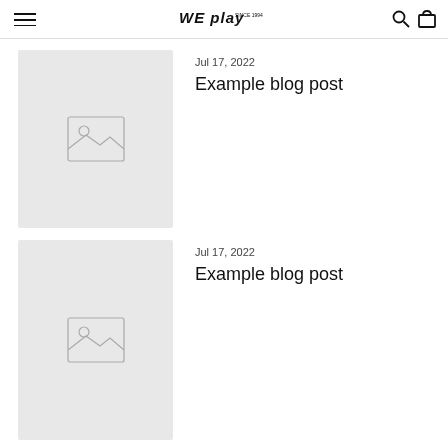WE PLAY SINCE 1994
Jul 17, 2022
Example blog post
[Figure (illustration): Placeholder image thumbnail with image icon]
Jul 17, 2022
Example blog post
[Figure (illustration): Placeholder image thumbnail with image icon]